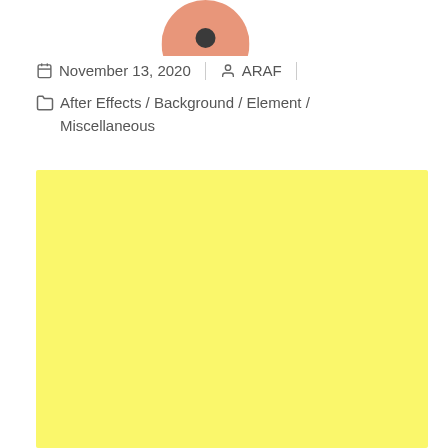[Figure (illustration): Circular avatar with peach/salmon background and a dark heart or figure icon, partially cropped at top of page]
November 13, 2020  |  ARAF  |
After Effects / Background / Element / Miscellaneous
[Figure (other): Large solid yellow/light yellow rectangle filling the lower portion of the page]